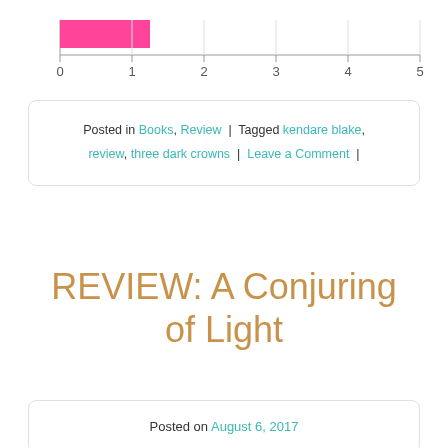[Figure (bar-chart): Rating chart]
Posted in Books, Review | Tagged kendare blake, review, three dark crowns | Leave a Comment |
REVIEW: A Conjuring of Light
Posted on August 6, 2017